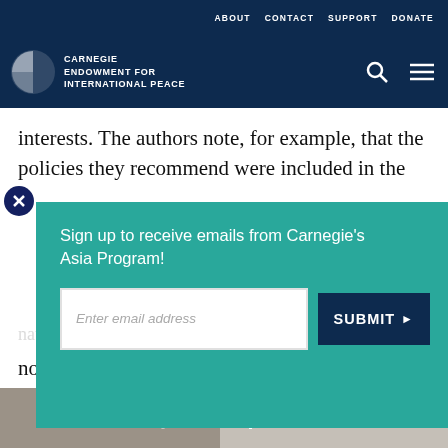ABOUT  CONTACT  SUPPORT  DONATE
[Figure (logo): Carnegie Endowment for International Peace logo with circular globe icon and white text on dark navy background]
interests. The authors note, for example, that the policies they recommend were included in the
[Figure (infographic): Email signup modal overlay with teal background. Text: 'Sign up to receive emails from Carnegie's Asia Program!' with email input field and SUBMIT button]
no resemblance to that of 1985. In 1985, the
Print, Share, Facebook, Twitter, WhatsApp, Messenger, LinkedIn social sharing icons